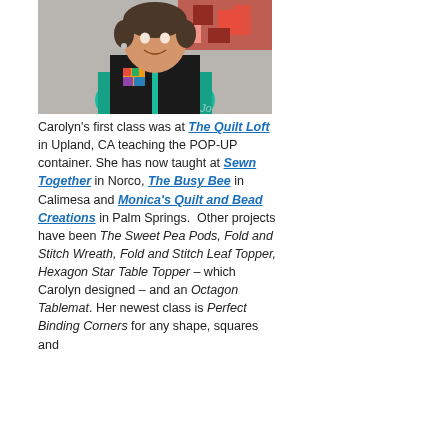[Figure (photo): Photo of Carolyn, a woman wearing a teal shirt and black vest, smiling, with a colorful quilt in the background.]
Carolyn’s first class was at The Quilt Loft in Upland, CA teaching the POP-UP container. She has now taught at Sewn Together in Norco, The Busy Bee in Calimesa and Monica’s Quilt and Bead Creations in Palm Springs.  Other projects have been The Sweet Pea Pods, Fold and Stitch Wreath, Fold and Stitch Leaf Topper, Hexagon Star Table Topper – which Carolyn designed – and an Octagon Tablemat. Her newest class is Perfect Binding Corners for any shape, squares and